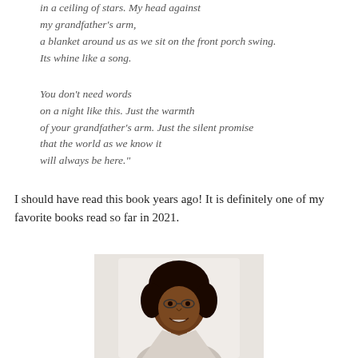in a ceiling of stars. My head against my grandfather's arm, a blanket around us as we sit on the front porch swing. Its whine like a song.

You don't need words on a night like this. Just the warmth of your grandfather's arm. Just the silent promise that the world as we know it will always be here."
I should have read this book years ago!  It is definitely one of my favorite books read so far in 2021.
[Figure (photo): Portrait photo of a Black woman with natural locs/dreadlocks hairstyle, wearing glasses, smiling, against a light background]